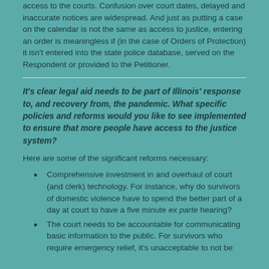access to the courts. Confusion over court dates, delayed and inaccurate notices are widespread. And just as putting a case on the calendar is not the same as access to justice, entering an order is meaningless if (in the case of Orders of Protection) it isn't entered into the state police database, served on the Respondent or provided to the Petitioner.
It's clear legal aid needs to be part of Illinois' response to, and recovery from, the pandemic. What specific policies and reforms would you like to see implemented to ensure that more people have access to the justice system?
Here are some of the significant reforms necessary:
Comprehensive investment in and overhaul of court (and clerk) technology. For instance, why do survivors of domestic violence have to spend the better part of a day at court to have a five minute ex parte hearing?
The court needs to be accountable for communicating basic information to the public. For survivors who require emergency relief, it's unacceptable to not be...